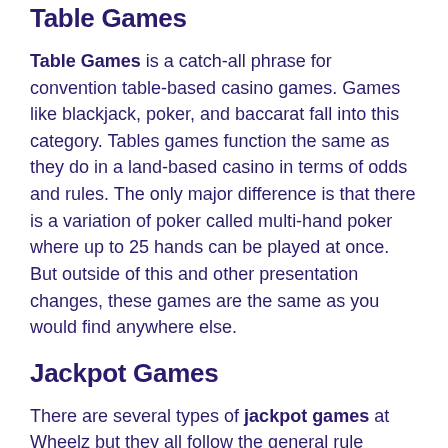Table Games
Table Games is a catch-all phrase for convention table-based casino games. Games like blackjack, poker, and baccarat fall into this category. Tables games function the same as they do in a land-based casino in terms of odds and rules. The only major difference is that there is a variation of poker called multi-hand poker where up to 25 hands can be played at once. But outside of this and other presentation changes, these games are the same as you would find anywhere else.
Jackpot Games
There are several types of jackpot games at Wheelz but they all follow the general rule